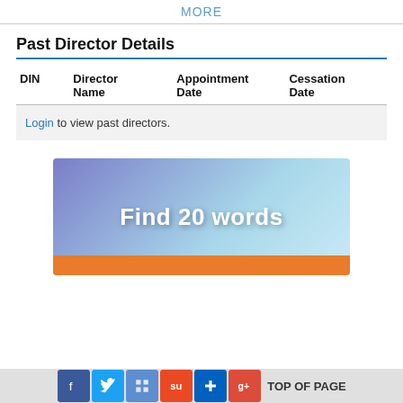MORE
Past Director Details
| DIN | Director Name | Appointment Date | Cessation Date |
| --- | --- | --- | --- |
| Login to view past directors. |  |  |  |
[Figure (illustration): Advertisement banner with gradient blue-purple background and text 'Find 20 words']
social share icons and TOP OF PAGE link